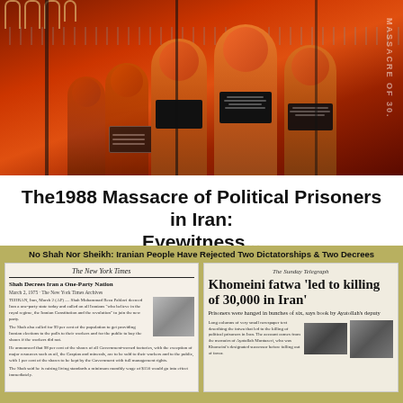[Figure (photo): Exhibition photo showing orange-lit hooded prisoner figures/statues behind barbed wire fences under red lighting, representing the 1988 massacre of political prisoners in Iran. Rope loops visible at top-left.]
The1988 Massacre of Political Prisoners in Iran: Eyewitness...
January 26, 2022
[Figure (photo): Collage of two newspaper front pages on an olive/yellow background. Left: New York Times article 'Shah Decrees Iran a One-Party Nation'. Right: The Sunday Telegraph headline 'Khomeini fatwa led to killing of 30,000 in Iran' with subheadline 'Prisoners were hanged in bunches of six, says book by Ayatollah's deputy'. Banner above reads: 'No Shah Nor Sheikh: Iranian People Have Rejected Two Dictatorships & Two Decrees']